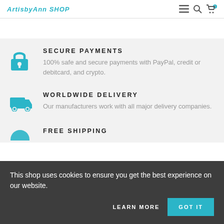ArtisbyAnn SHOP
SECURE PAYMENTS
100% safe and secure payments with PayPal, credit or debitcard, and crypto.
WORLDWIDE DELIVERY
Our manufacturers work with all major delivery companies.
FREE SHIPPING
This shop uses cookies to ensure you get the best experience on our website.
LEARN MORE
GOT IT